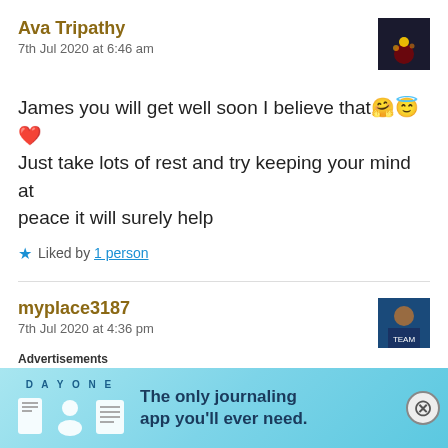Ava Tripathy
7th Jul 2020 at 6:46 am
James you will get well soon I believe that🤗😇❤️ Just take lots of rest and try keeping your mind at peace it will surely help
★ Liked by 1 person
myplace3187
7th Jul 2020 at 4:36 pm
Ava Thank you very much for the wonderful words
Advertisements
[Figure (infographic): Day One journaling app advertisement banner with light blue background, icons of a book, person and notepad, and text 'The only journaling app you'll ever need.']